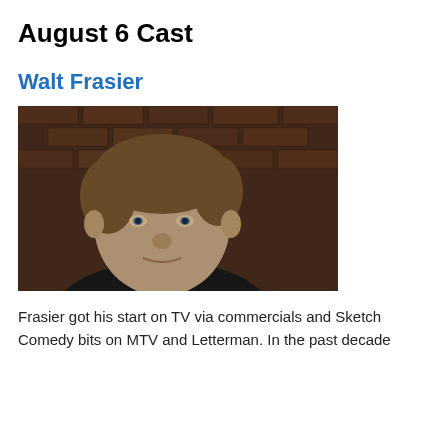August 6 Cast
Walt Frasier
[Figure (photo): Headshot of Walt Frasier, a man with short brown hair wearing a black shirt, photographed against a brick wall background.]
Frasier got his start on TV via commercials and Sketch Comedy bits on MTV and Letterman. In the past decade